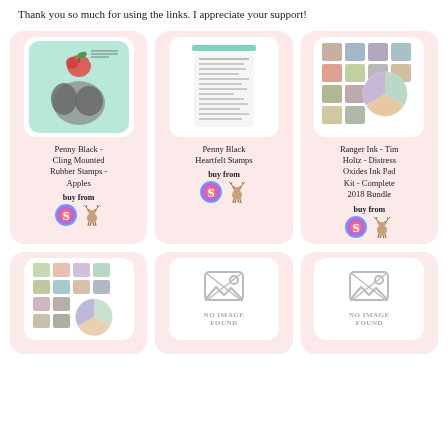Affiliate links are listed and applied at at no additional cost to you. Thank you so much for using the links. I appreciate your support!
[Figure (illustration): Product card: Penny Black Cling Mounted Rubber Stamps - Apples with buy from icons]
[Figure (illustration): Product card: Penny Black Heartfelt Stamps with buy from icons]
[Figure (illustration): Product card: Ranger Ink Tim Holtz Distress Oxides Ink Pad Kit Complete 2018 Bundle with buy from icons]
[Figure (illustration): Product card: Ink pad kit grid image with buy from icons (bottom row left)]
[Figure (illustration): Product card: No Image Found (bottom row center)]
[Figure (illustration): Product card: No Image Found (bottom row right)]